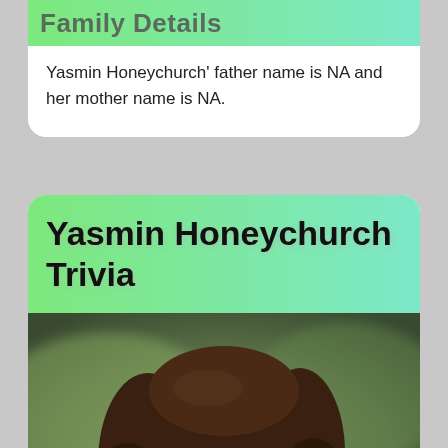Family Details
Yasmin Honeychurch' father name is NA and her mother name is NA.
Yasmin Honeychurch Trivia
[Figure (photo): Portrait photo of Yasmin Honeychurch, a young woman with long curly brown hair, wearing a red floral top, looking at the camera with a neutral expression, blurred outdoor background.]